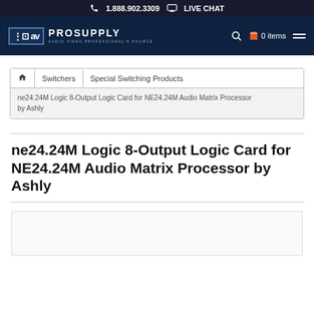1.888.902.3309  LIVE CHAT
[Figure (logo): AV ProSupply logo - Audio Video Professional's Source]
Switchers  Special Switching Products
ne24.24M Logic 8-Output Logic Card for NE24.24M Audio Matrix Processor by Ashly
ne24.24M Logic 8-Output Logic Card for NE24.24M Audio Matrix Processor by Ashly
[Figure (photo): Product image area (blank/loading)]